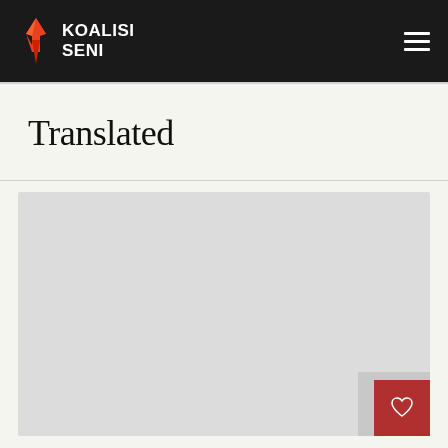KOALISI SENI
Translated
[Figure (other): Gray placeholder image/content area with a red heart button in the bottom-right corner]